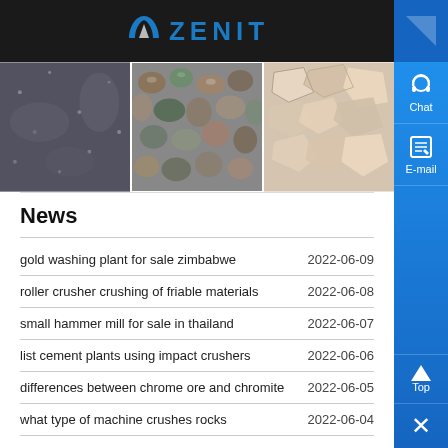ZENIT
[Figure (photo): Three photos of rock/stone materials: dark granite sand, colorful pebbles, and light-colored crushed rocks/feldspar chunks]
News
gold washing plant for sale zimbabwe  2022-06-09
roller crusher crushing of friable materials  2022-06-08
small hammer mill for sale in thailand  2022-06-07
list cement plants using impact crushers  2022-06-06
differences between chrome ore and chromite  2022-06-05
what type of machine crushes rocks  2022-06-04